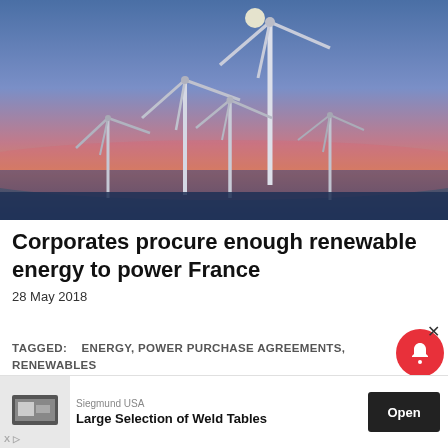[Figure (photo): Wind turbines against a twilight sky with pink, blue and purple hues and a full moon visible above the tallest turbine]
Corporates procure enough renewable energy to power France
28 May 2018
TAGGED:   ENERGY, POWER PURCHASE AGREEMENTS, RENEWABLES
[Figure (screenshot): Advertisement banner: Siegmund USA - Large Selection of Weld Tables - Open button]